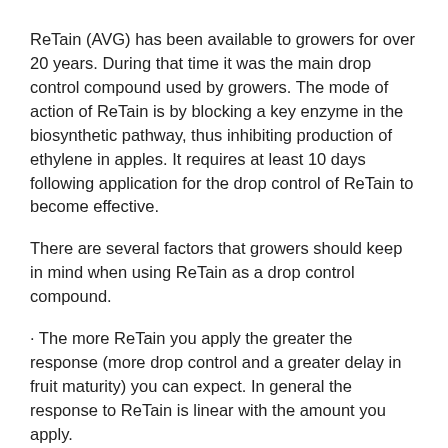ReTain (AVG) has been available to growers for over 20 years. During that time it was the main drop control compound used by growers. The mode of action of ReTain is by blocking a key enzyme in the biosynthetic pathway, thus inhibiting production of ethylene in apples. It requires at least 10 days following application for the drop control of ReTain to become effective.
There are several factors that growers should keep in mind when using ReTain as a drop control compound.
· The more ReTain you apply the greater the response (more drop control and a greater delay in fruit maturity) you can expect. In general the response to ReTain is linear with the amount you apply.
· The earlier you apply ReTain in the season the greater the retardation of ripening and red color development will occur.
· When one pouch of ReTain per acre is applied on McIntosh effective drop control (less than 20%) will generally last for 30 to 35 days. Supplemental application of ½ to 1 333g pouch will extend the period of drop control and continued retardation of